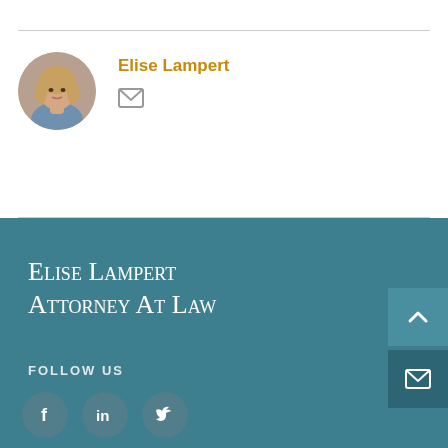[Figure (photo): Circular profile photo of Elise Lampert, a woman with shoulder-length blonde hair]
Elise Lampert
[Figure (illustration): Email/envelope icon in gray]
Elise Lampert Attorney At Law
FOLLOW US
[Figure (illustration): Social media icons: Facebook, LinkedIn, Twitter]
[Figure (illustration): Back to top arrow button]
[Figure (illustration): Email/envelope button]